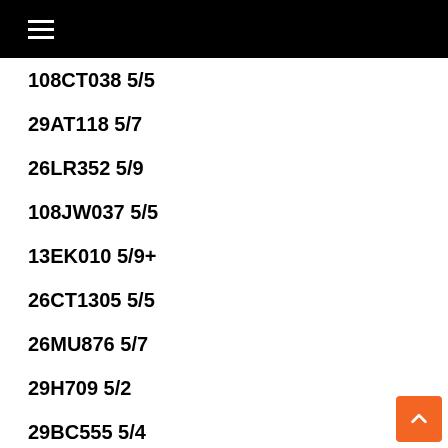☰
108CT038 5/5
29AT118 5/7
26LR352 5/9
108JW037 5/5
13EK010 5/9+
26CT1305 5/5
26MU876 5/7
29H709 5/2
29BC555 5/4